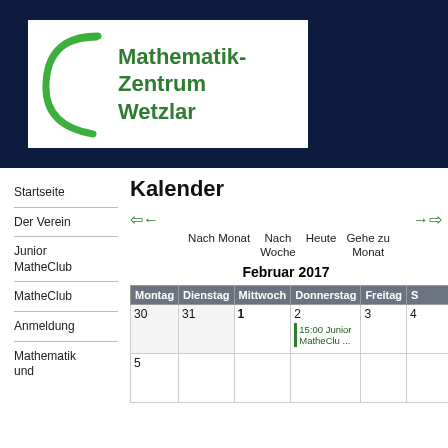[Figure (logo): Mathematik-Zentrum Wetzlar logo with green crescent/arc SVG on dark navy background]
Startseite
Der Verein
Junior
MatheClub
MatheClub
Anmeldung
Mathematik und
Kalender
←← Nach Monat   Nach Woche   Heute   Gehe zu Monat   →→
Februar 2017
| Montag | Dienstag | Mittwoch | Donnerstag | Freitag | S |
| --- | --- | --- | --- | --- | --- |
| 30 | 31 | 1 | 2
15:00 Junior MatheClu ... | 3 | 4 |
| 5 |  |  |  |  |  |